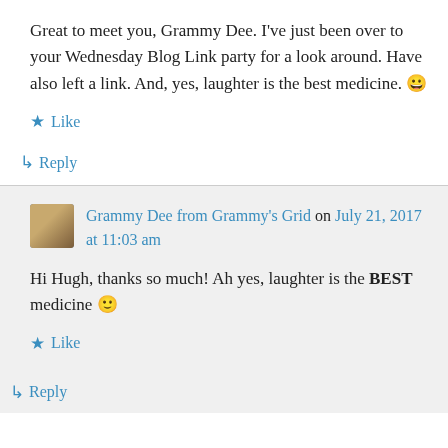Great to meet you, Grammy Dee. I've just been over to your Wednesday Blog Link party for a look around. Have also left a link. And, yes, laughter is the best medicine. 😀
★ Like
↳ Reply
Grammy Dee from Grammy's Grid on July 21, 2017 at 11:03 am
Hi Hugh, thanks so much! Ah yes, laughter is the BEST medicine 🙂
★ Like
↳ Reply